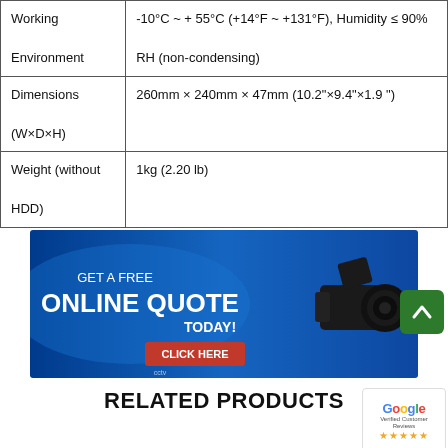|  |  |
| --- | --- |
| Working

Environment | -10°C ~ + 55°C (+14°F ~ +131°F), Humidity ≤ 90%
RH (non-condensing) |
| Dimensions

(W×D×H) | 260mm × 240mm × 47mm (10.2"×9.4"×1.9 ") |
| Weight (without

HDD) | 1kg (2.20 lb) |
[Figure (infographic): Blue promotional banner: 'GET A FREE ONLINE QUOTE TODAY! CLICK HERE' with CCTV camera image and CCTV Security Pros logo]
[Figure (other): Green scroll-to-top button with white upward arrow]
RELATED PRODUCTS
[Figure (logo): Google Verified Customer Reviews badge with 5 gold stars]